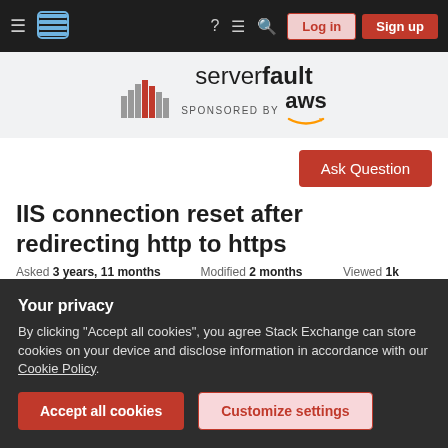Server Fault — navigation bar with hamburger menu, logo, help, chat, search icons, Log in and Sign up buttons
[Figure (logo): Server Fault logo with bar-chart icon and 'serverfault' text, sponsored by AWS logo]
SPONSORED BY aws
Ask Question
IIS connection reset after redirecting http to https
Asked 3 years, 11 months ago   Modified 2 months ago   Viewed 1k times
Your privacy
By clicking "Accept all cookies", you agree Stack Exchange can store cookies on your device and disclose information in accordance with our Cookie Policy.
Accept all cookies   Customize settings
only Timer_connectionIdle errors in the log. From